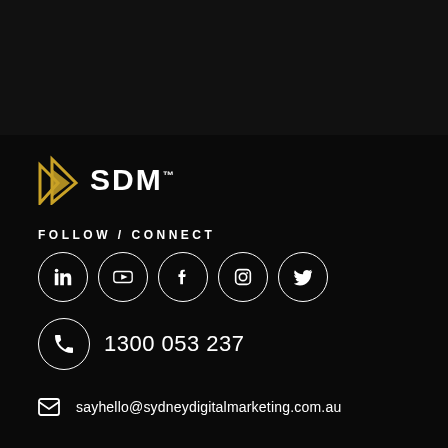[Figure (logo): SDM Sydney Digital Marketing logo with yellow geometric D icon and white SDM text]
FOLLOW / CONNECT
[Figure (infographic): Five social media icons in white circles: LinkedIn, YouTube, Facebook, Instagram, Twitter]
1300 053 237
sayhello@sydneydigitalmarketing.com.au